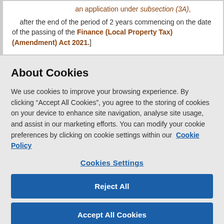an application under subsection (3A),
after the end of the period of 2 years commencing on the date of the passing of the Finance (Local Property Tax) (Amendment) Act 2021.]
About Cookies
We use cookies to improve your browsing experience. By clicking “Accept All Cookies”, you agree to the storing of cookies on your device to enhance site navigation, analyse site usage, and assist in our marketing efforts. You can modify your cookie preferences by clicking on cookie settings within our Cookie Policy
Cookies Settings
Reject All
Accept All Cookies